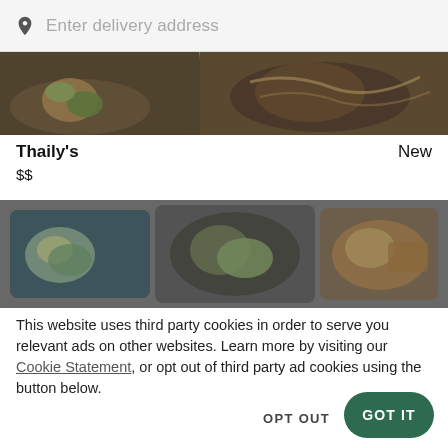Enter delivery address
[Figure (photo): Top portion of a food delivery app showing a partial restaurant food image]
Thaily's
New
$$
[Figure (photo): Second food image showing bento-style dishes with blue container in a food delivery app]
This website uses third party cookies in order to serve you relevant ads on other websites. Learn more by visiting our Cookie Statement, or opt out of third party ad cookies using the button below.
OPT OUT
GOT IT